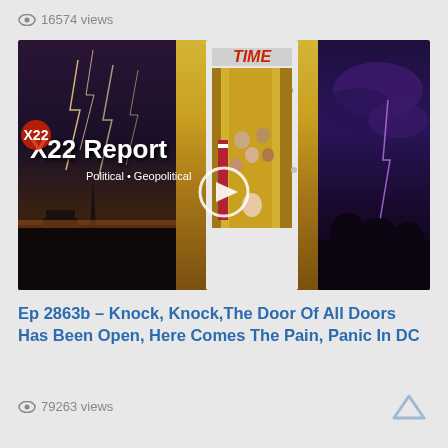👁 16574 views
[Figure (screenshot): Video thumbnail for X22 Report showing lightning storm over Washington DC on the left, a TIME magazine cover parody with political figures viewed through a door labeled 45 in the center, and a purple storm sky on the right. X22 Report logo and 'Political • Geopolitical' text overlay on left side. White circular play button in center.]
Ep 2863b – Knock, Knock,The Door Of All Doors Has Been Open, Here Comes The Pain, Panic In DC
👁 79263 views